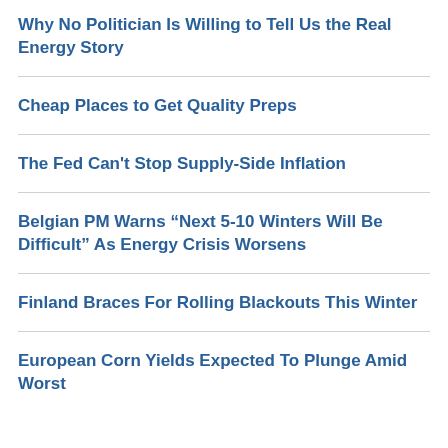Why No Politician Is Willing to Tell Us the Real Energy Story
Cheap Places to Get Quality Preps
The Fed Can't Stop Supply-Side Inflation
Belgian PM Warns “Next 5-10 Winters Will Be Difficult” As Energy Crisis Worsens
Finland Braces For Rolling Blackouts This Winter
European Corn Yields Expected To Plunge Amid Worst